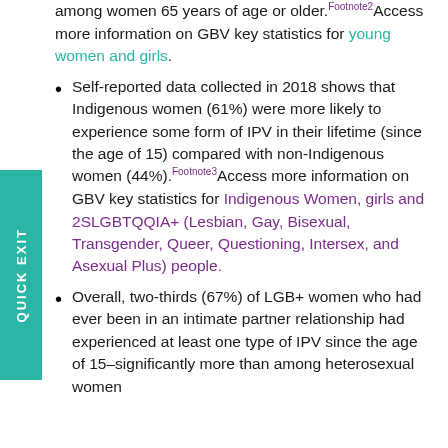among women 65 years of age or older.Footnote2 Access more information on GBV key statistics for young women and girls.
Self-reported data collected in 2018 shows that Indigenous women (61%) were more likely to experience some form of IPV in their lifetime (since the age of 15) compared with non-Indigenous women (44%).Footnote3 Access more information on GBV key statistics for Indigenous Women, girls and 2SLGBTQQIA+ (Lesbian, Gay, Bisexual, Transgender, Queer, Questioning, Intersex, and Asexual Plus) people.
Overall, two-thirds (67%) of LGB+ women who had ever been in an intimate partner relationship had experienced at least one type of IPV since the age of 15–significantly more than among heterosexual women